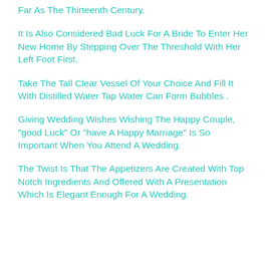Far As The Thirteenth Century.
It Is Also Considered Bad Luck For A Bride To Enter Her New Home By Stepping Over The Threshold With Her Left Foot First.
Take The Tall Clear Vessel Of Your Choice And Fill It With Distilled Water Tap Water Can Form Bubbles .
Giving Wedding Wishes Wishing The Happy Couple, "good Luck" Or "have A Happy Marriage" Is So Important When You Attend A Wedding.
The Twist Is That The Appetizers Are Created With Top Notch Ingredients And Offered With A Presentation Which Is Elegant Enough For A Wedding.